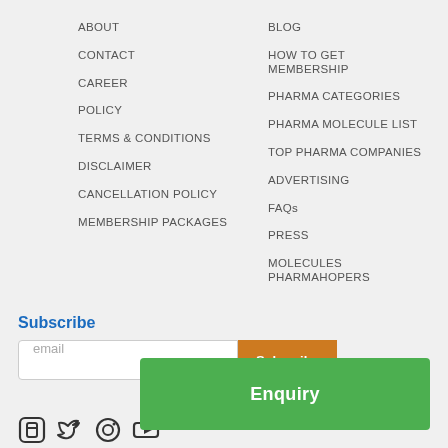ABOUT
BLOG
CONTACT
HOW TO GET MEMBERSHIP
CAREER
PHARMA CATEGORIES
POLICY
PHARMA MOLECULE LIST
TERMS & CONDITIONS
TOP PHARMA COMPANIES
DISCLAIMER
ADVERTISING
CANCELLATION POLICY
FAQs
MEMBERSHIP PACKAGES
PRESS
MOLECULES PHARMAHOPERS
Subscribe
email
Subscribe
Enquiry